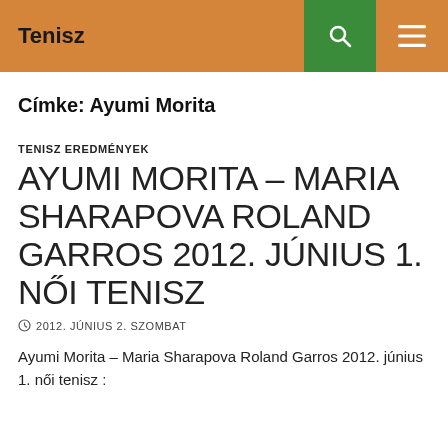Tenisz
Címke: Ayumi Morita
TENISZ EREDMÉNYEK
AYUMI MORITA – MARIA SHARAPOVA ROLAND GARROS 2012. JÚNIUS 1. NŐI TENISZ
⊙ 2012. JÚNIUS 2. SZOMBAT
Ayumi Morita – Maria Sharapova Roland Garros 2012. június 1. női tenisz :